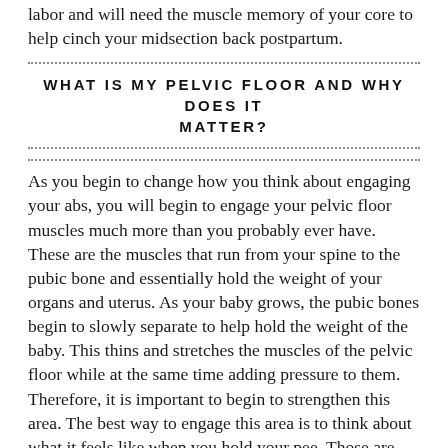labor and will need the muscle memory of your core to help cinch your midsection back postpartum.
WHAT IS MY PELVIC FLOOR AND WHY DOES IT MATTER?
As you begin to change how you think about engaging your abs, you will begin to engage your pelvic floor muscles much more than you probably ever have. These are the muscles that run from your spine to the pubic bone and essentially hold the weight of your organs and uterus. As your baby grows, the pubic bones begin to slowly separate to help hold the weight of the baby. This thins and stretches the muscles of the pelvic floor while at the same time adding pressure to them. Therefore, it is important to begin to strengthen this area. The best way to engage this area is to think about what it feels like when you hold your pee. Those are your pelvic muscles engaging. As you workout now and you think about “hugging your baby”